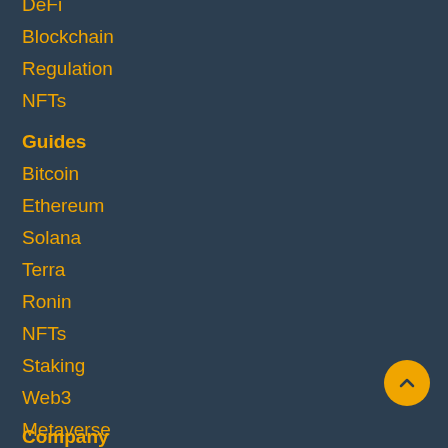DeFi
Blockchain
Regulation
NFTs
Guides
Bitcoin
Ethereum
Solana
Terra
Ronin
NFTs
Staking
Web3
Metaverse
Coins vs. Tokens
Company